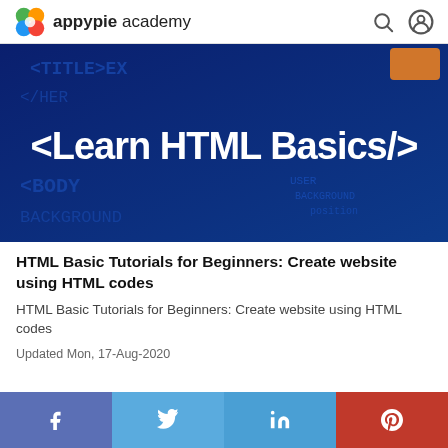appypie academy
[Figure (screenshot): Dark blue background with HTML code tags visible (TITLE, /HER, BODY, BACKGROUND) and large bold white text reading '<Learn HTML Basics/>']
HTML Basic Tutorials for Beginners: Create website using HTML codes
HTML Basic Tutorials for Beginners: Create website using HTML codes
Updated Mon, 17-Aug-2020